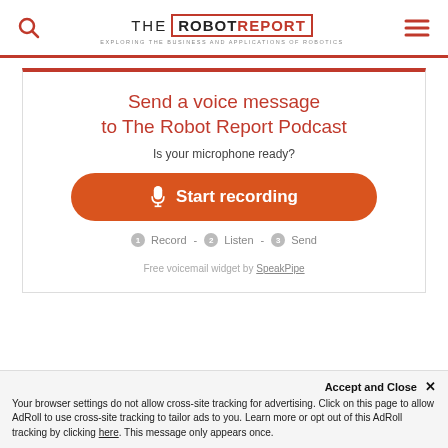THE ROBOTREPORT - EXPLORING THE BUSINESS AND APPLICATIONS OF ROBOTICS
[Figure (screenshot): SpeakPipe voice message widget embedded in The Robot Report website. Shows title 'Send a voice message to The Robot Report Podcast', subtitle 'Is your microphone ready?', an orange 'Start recording' button with microphone icon, steps '1 Record - 2 Listen - 3 Send', and footer 'Free voicemail widget by SpeakPipe'.]
Accept and Close ✕
Your browser settings do not allow cross-site tracking for advertising. Click on this page to allow AdRoll to use cross-site tracking to tailor ads to you. Learn more or opt out of this AdRoll tracking by clicking here. This message only appears once.